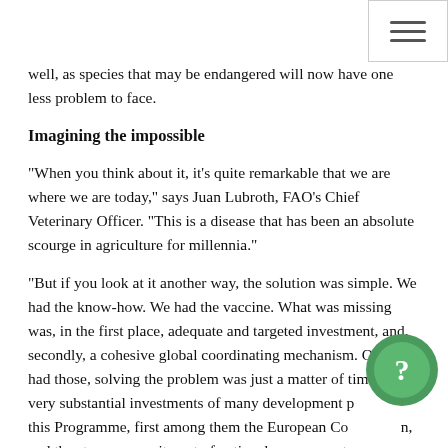☰ (hamburger menu icon)
well, as species that may be endangered will now have one less problem to face.
Imagining the impossible
"When you think about it, it's quite remarkable that we are where we are today," says Juan Lubroth, FAO's Chief Veterinary Officer. "This is a disease that has been an absolute scourge in agriculture for millennia."
"But if you look at it another way, the solution was simple. We had the know-how. We had the vaccine. What was missing was, in the first place, adequate and targeted investment, and, secondly, a cohesive global coordinating mechanism. Once we had those, solving the problem was just a matter of time. The very substantial investments of many development partners in this Programme, first among them the European Commission, and the strong commitment of national governments and of mandated regional organizations have been instrumental in this success story," he adds.